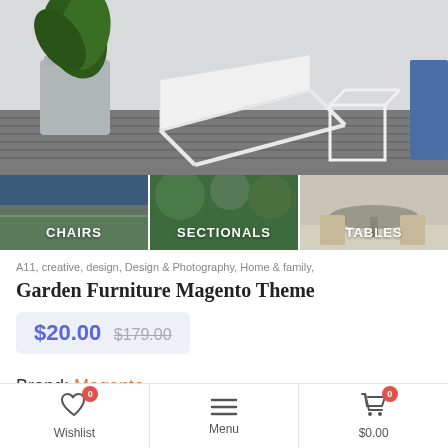[Figure (photo): Outdoor furniture scene with a white lounge chair and cube side table on a wooden deck with a potted palm plant in the background]
[Figure (photo): Three category thumbnails side by side: CHAIRS (chairs near water), SECTIONALS (outdoor seating with greenery), TABLES (outdoor dining table and chairs)]
A11, creative, design, Design & Photography, Home & family,
Garden Furniture Magento Theme
$20.00 $179.00
Brand: Magento
Wishlist 0   Menu   $0.00 0